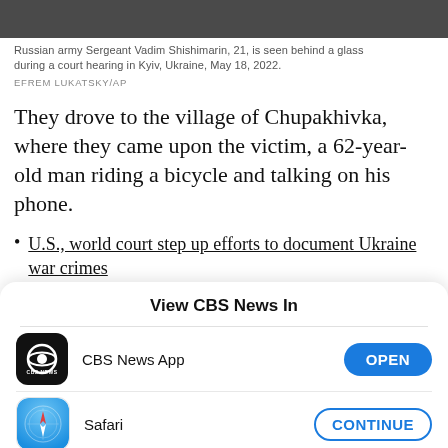[Figure (photo): Dark photo strip showing top of image — Russian army Sergeant Vadim Shishimarin court hearing photo, partially cropped]
Russian army Sergeant Vadim Shishimarin, 21, is seen behind a glass during a court hearing in Kyiv, Ukraine, May 18, 2022.
EFREM LUKATSKY/AP
They drove to the village of Chupakhivka, where they came upon the victim, a 62-year-old man riding a bicycle and talking on his phone.
U.S., world court step up efforts to document Ukraine war crimes
View CBS News In
CBS News App
OPEN
Safari
CONTINUE